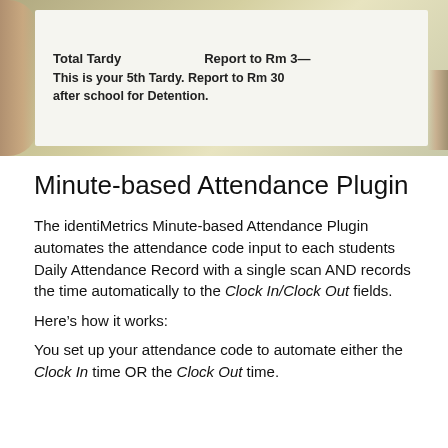[Figure (photo): A close-up photo of a hand holding a printed tardy slip/card that reads 'Total Tardy [number]' and 'This is your 5th Tardy. Report to Rm [number] after school for Detention.']
Minute-based Attendance Plugin
The identiMetrics Minute-based Attendance Plugin automates the attendance code input to each students Daily Attendance Record with a single scan AND records the time automatically to the Clock In/Clock Out fields.
Here’s how it works:
You set up your attendance code to automate either the Clock In time OR the Clock Out time.